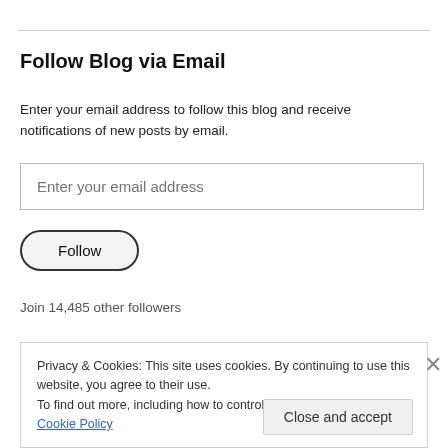Follow Blog via Email
Enter your email address to follow this blog and receive notifications of new posts by email.
Enter your email address
Follow
Join 14,485 other followers
Privacy & Cookies: This site uses cookies. By continuing to use this website, you agree to their use.
To find out more, including how to control cookies, see here: Cookie Policy
Close and accept